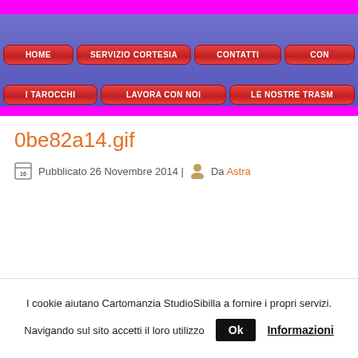[Figure (screenshot): Website navigation bar with magenta/pink background and red rounded navigation buttons: HOME, SERVIZIO CORTESIA, CONTATTI, CON... (row 1), I TAROCCHI, LAVORA CON NOI, LE NOSTRE TRASM... (row 2) on a blue/purple background]
0be82a14.gif
Pubblicato 26 Novembre 2014 | Da Astra
I cookie aiutano Cartomanzia StudioSibilla a fornire i propri servizi.
Navigando sul sito accetti il loro utilizzo   Ok   Informazioni